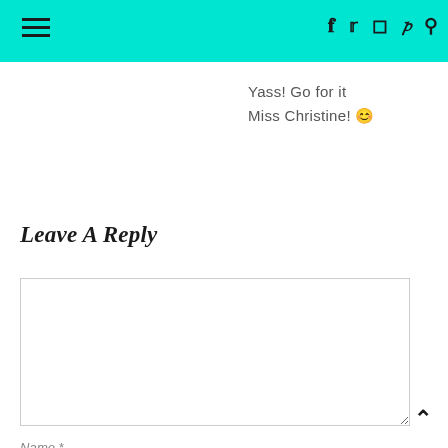Navigation header with hamburger menu and social icons (facebook, twitter, instagram, pinterest, search)
Yass! Go for it Miss Christine! 😊
Leave A Reply
[Comment textarea field]
Name *
[Name input field]